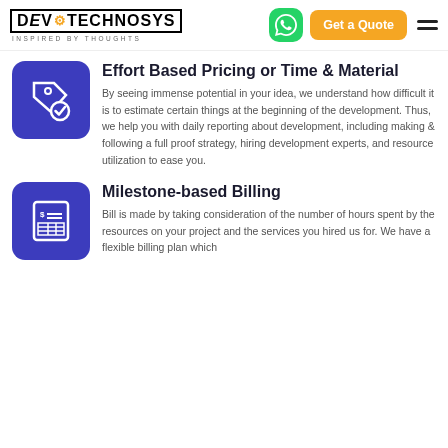DevTechnoSys – INSPIRED BY THOUGHTS | Get a Quote
Effort Based Pricing or Time & Material
By seeing immense potential in your idea, we understand how difficult it is to estimate certain things at the beginning of the development. Thus, we help you with daily reporting about development, including making & following a full proof strategy, hiring development experts, and resource utilization to ease you.
Milestone-based Billing
Bill is made by taking consideration of the number of hours spent by the resources on your project and the services you hired us for. We have a flexible billing plan which...